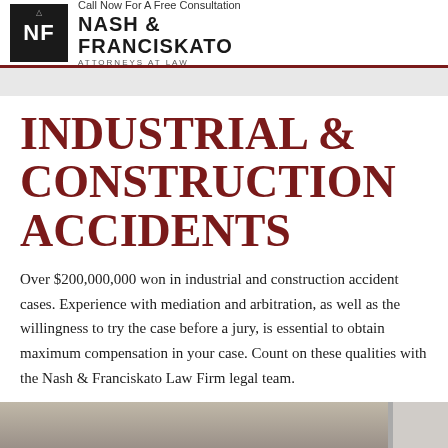Call Now For A Free Consultation
NASH & FRANCISKATO
ATTORNEYS AT LAW
INDUSTRIAL & CONSTRUCTION ACCIDENTS
Over $200,000,000 won in industrial and construction accident cases. Experience with mediation and arbitration, as well as the willingness to try the case before a jury, is essential to obtain maximum compensation in your case. Count on these qualities with the Nash & Franciskato Law Firm legal team.
[Figure (photo): Partial image of a construction or industrial site at the bottom of the page]